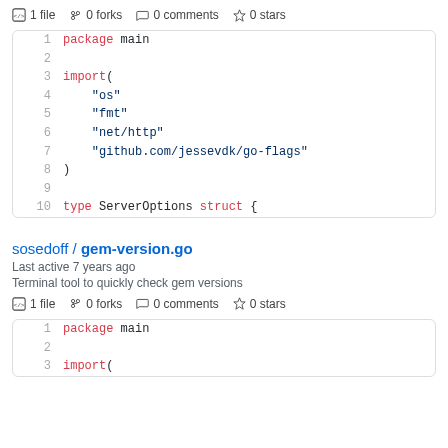1 file  0 forks  0 comments  0 stars
[Figure (screenshot): Code snippet showing Go source file lines 1-10 with package main, import block containing os, fmt, net/http, github.com/jessevdk/go-flags, and type ServerOptions struct {]
sosedoff / gem-version.go
Last active 7 years ago
Terminal tool to quickly check gem versions
1 file  0 forks  0 comments  0 stars
[Figure (screenshot): Code snippet showing beginning of another Go file with package main, blank line, and import(]